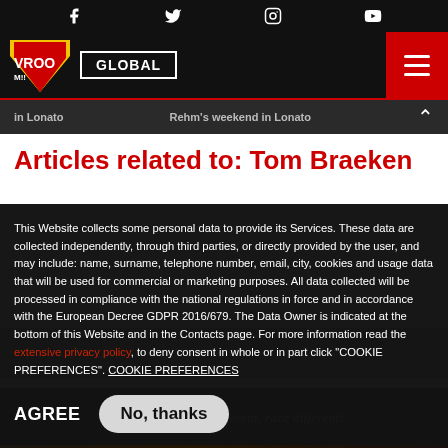Social icons: Facebook, Twitter, Instagram, YouTube
VROOM!! GLOBAL [hamburger menu]
in Lonato    Rehm's weekend in Lonato
Articles related to: Tom Braeken
This Website collects some personal data to provide its Services. These data are collected independently, through third parties, or directly provided by the user, and may include: name, surname, telephone number, email, city, cookies and usage data that will be used for commercial or marketing purposes. All data collected will be processed in compliance with the national regulations in force and in accordance with the European Decree GDPR 2016/679. The Data Owner is indicated at the bottom of this Website and in the Contacts page. For more information read the extensive privacy policy, to deny consent in whole or in part click "COOKIE PREFERENCES". COOKIE PREFERENCES
AGREE    No, thanks
[Figure (photo): Haase advertisement banner: 'HAASE Be different, race different!']